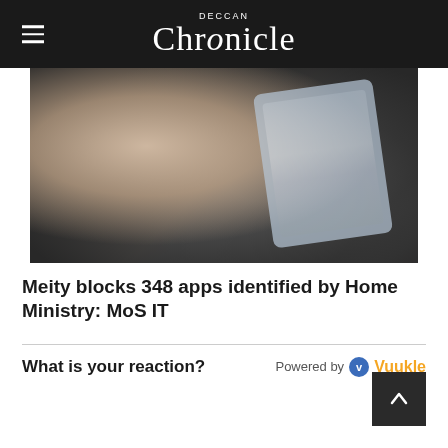Deccan Chronicle
[Figure (photo): A hand holding a smartphone, viewed from above, with the phone screen partially visible showing a blurred interface.]
Meity blocks 348 apps identified by Home Ministry: MoS IT
What is your reaction?   Powered by Vuukle